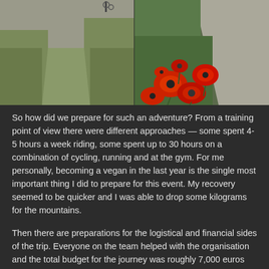[Figure (photo): Two side-by-side photos: left shows a grassy roadside path with a bicycle visible at top, right shows red poppy flowers growing along a roadside with gravel]
So how did we prepare for such an adventure? From a training point of view there were different approaches — some spent 4-5 hours a week riding, some spent up to 30 hours on a combination of cycling, running and at the gym. For me personally, becoming a vegan in the last year is the single most important thing I did to prepare for this event. My recovery seemed to be quicker and I was able to drop some kilograms for the mountains.
Then there are preparations for the logistical and financial sides of the trip. Everyone on the team helped with the organisation and the total budget for the journey was roughly 7,000 euros (AUD $10,200), not including bikes as everybody had one already. We riders paid for about 60% of the trip and the rest was taken care of by a few